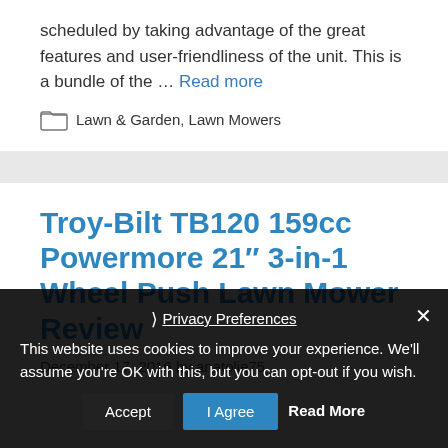scheduled by taking advantage of the great features and user-friendliness of the unit. This is a bundle of the … Read more
Lawn & Garden, Lawn Mowers
Troy-Bilt TB120 159cc Powermore 21″ 3-in-1 Wheel Push Lawn Mower Review
December 17, 2016 by anatolie75
This website uses cookies to improve your experience. We'll assume you're OK with this, but you can opt-out if you wish. Accept I Agree Read More